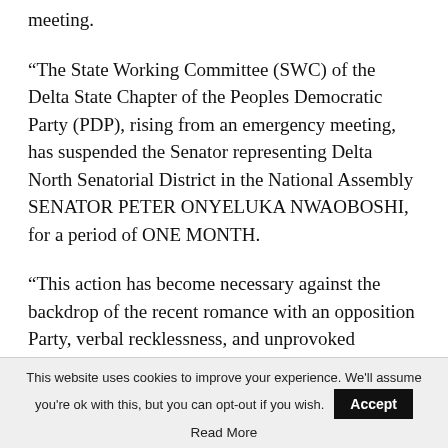meeting.
“The State Working Committee (SWC) of the Delta State Chapter of the Peoples Democratic Party (PDP), rising from an emergency meeting, has suspended the Senator representing Delta North Senatorial District in the National Assembly SENATOR PETER ONYELUKA NWAOBOSHI, for a period of ONE MONTH.
“This action has become necessary against the backdrop of the recent romance with an opposition Party, verbal recklessness, and unprovoked utterances of Senator Peter Nwaoboshi, particularly against the
This website uses cookies to improve your experience. We’ll assume you’re ok with this, but you can opt-out if you wish. Accept Read More